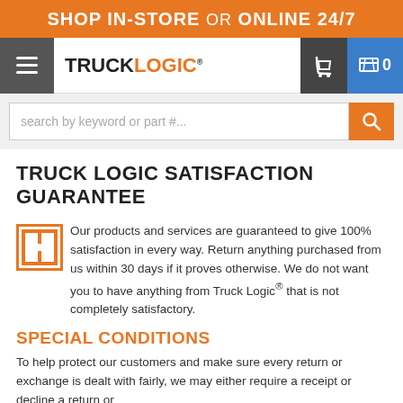SHOP IN-STORE or ONLINE 24/7
[Figure (logo): TruckLogic navigation bar with hamburger menu, TRUCKLOGIC logo, phone icon, and cart icon showing 0 items]
search by keyword or part #...
TRUCK LOGIC SATISFACTION GUARANTEE
Our products and services are guaranteed to give 100% satisfaction in every way. Return anything purchased from us within 30 days if it proves otherwise. We do not want you to have anything from Truck Logic® that is not completely satisfactory.
SPECIAL CONDITIONS
To help protect our customers and make sure every return or exchange is dealt with fairly, we may either require a receipt or decline a return or